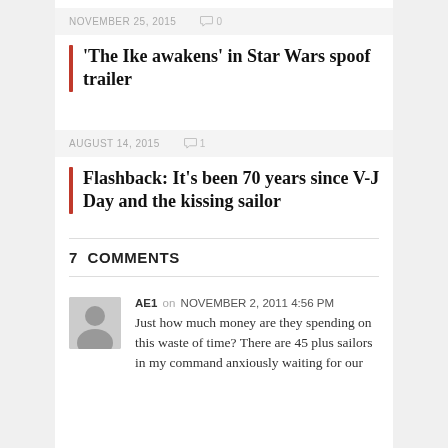NOVEMBER 25, 2015   0
'The Ike awakens' in Star Wars spoof trailer
AUGUST 14, 2015   1
Flashback: It's been 70 years since V-J Day and the kissing sailor
7 COMMENTS
AE1 on NOVEMBER 2, 2011 4:56 PM
Just how much money are they spending on this waste of time? There are 45 plus sailors in my command anxiously waiting for our